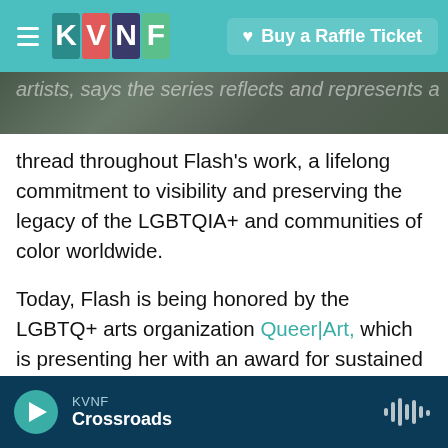KVNF logo header with Buy a Raffle Ticket button
[Figure (screenshot): Partial cropped photograph of dark rocky background with partially visible italic text]
artists, says the series reflects and represents a thread throughout Flash's work, a lifelong commitment to visibility and preserving the legacy of the LGBTQIA+ and communities of color worldwide.
Today, Flash is being honored by the LGBTQ+ arts organization Queer|Art, which is presenting her with an award for sustained achievement. Tomorrow, you'll find her teaching visual arts to ninth and tenth graders in Brooklyn. "Having the photographs to be able to show that this is our legacy is amazing," she says. "I often say that you if you don't have a legacy, you can be that person... you can start it."
KVNF Crossroads — audio player bar